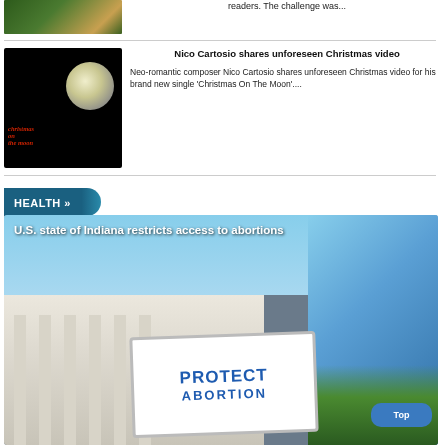readers. The challenge was...
[Figure (photo): Christmas tree photo thumbnail]
[Figure (photo): Christmas On The Moon movie poster - dark background with red stylized text and moon circle]
Nico Cartosio shares unforeseen Christmas video
Neo-romantic composer Nico Cartosio shares unforeseen Christmas video for his brand new single 'Christmas On The Moon'....
HEALTH »
[Figure (photo): U.S. state of Indiana restricts access to abortions - protest sign reading PROTECT ABORTION in front of courthouse columns]
U.S. state of Indiana restricts access to abortions